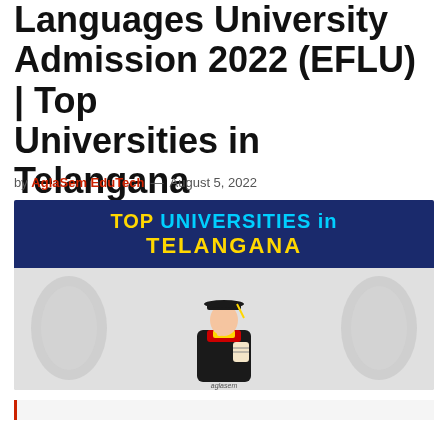Languages University Admission 2022 (EFLU) | Top Universities in Telangana
by AglaSem EduTech — August 5, 2022
[Figure (illustration): Promotional banner for Top Universities in Telangana featuring a blue header with cyan and yellow text reading 'TOP UNIVERSITIES in TELANGANA', and a cartoon graduation figure (aglasem) on a gray diploma scroll background.]